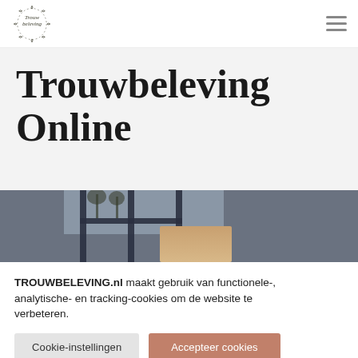Trouwbeleving logo and navigation menu
Trouwbeleving Online
[Figure (photo): Partial photo of a venue with large glass windows and trees visible, with a warm-toned element in the foreground]
TROUWBELEVING.nl maakt gebruik van functionele-, analytische- en tracking-cookies om de website te verbeteren.
Cookie-instellingen  Accepteer cookies